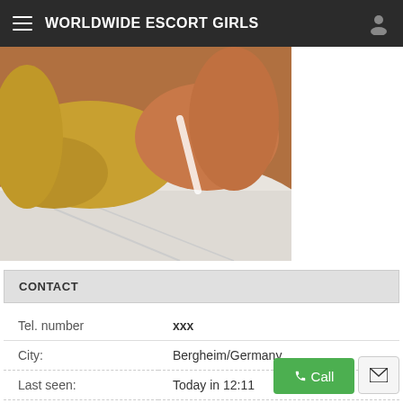WORLDWIDE ESCORT GIRLS
[Figure (photo): Partial view of a person with blonde hair lying on a white bedsheet, close-up photo]
CONTACT
| Tel. number | xxx |
| City: | Bergheim/Germany |
| Last seen: | Today in 12:11 |
| 5 days ago: | 12:31 |